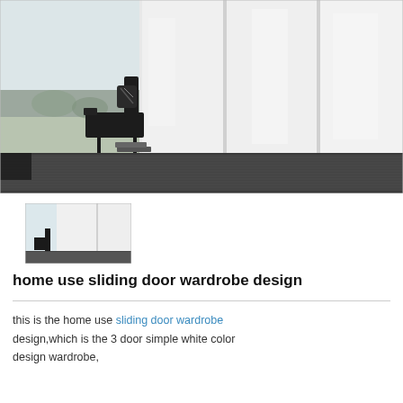[Figure (photo): Large interior photo showing white sliding door wardrobe panels with a black modern armchair in the background, dark flooring with textured rug, and natural light from windows.]
[Figure (photo): Small thumbnail of the same white sliding door wardrobe room with a small black chair visible.]
home use sliding door wardrobe design
this is the home use sliding door wardrobe design,which is the 3 door simple white color design wardrobe,